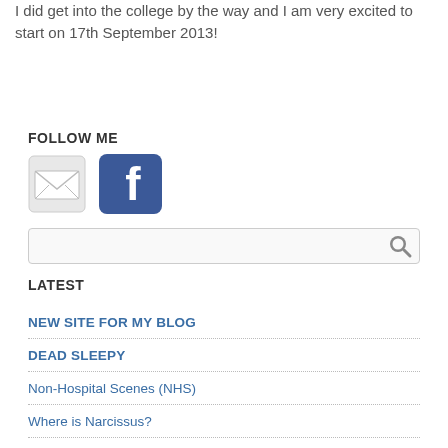I did get into the college by the way and I am very excited to start on 17th September 2013!
FOLLOW ME
[Figure (illustration): Email icon (envelope) and Facebook icon side by side]
[Figure (screenshot): Search bar with magnifying glass button]
LATEST
NEW SITE FOR MY BLOG
DEAD SLEEPY
Non-Hospital Scenes (NHS)
Where is Narcissus?
De-Brutalising Barbican